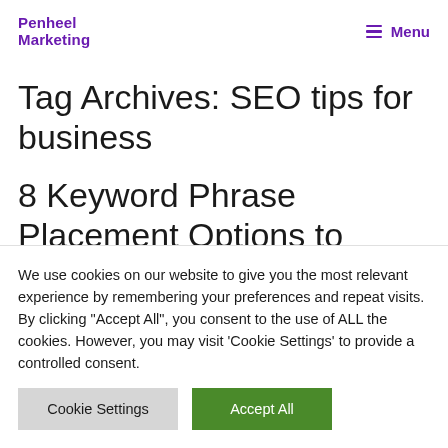Penheel Marketing | Menu
Tag Archives: SEO tips for business
8 Keyword Phrase Placement Options to
We use cookies on our website to give you the most relevant experience by remembering your preferences and repeat visits. By clicking "Accept All", you consent to the use of ALL the cookies. However, you may visit 'Cookie Settings' to provide a controlled consent.
Cookie Settings | Accept All